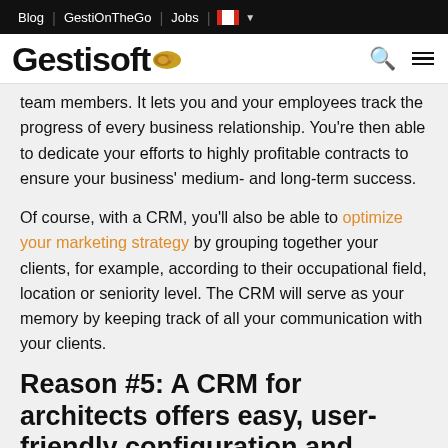Blog | GestiOnTheGo | Jobs | [CA flag]
[Figure (logo): Gestisoft logo with stylized badge icon, search icon (pink), and hamburger menu icon]
team members. It lets you and your employees track the progress of every business relationship. You're then able to dedicate your efforts to highly profitable contracts to ensure your business' medium- and long-term success.
Of course, with a CRM, you'll also be able to optimize your marketing strategy by grouping together your clients, for example, according to their occupational field, location or seniority level. The CRM will serve as your memory by keeping track of all your communication with your clients.
Reason #5: A CRM for architects offers easy, user-friendly configuration and integration